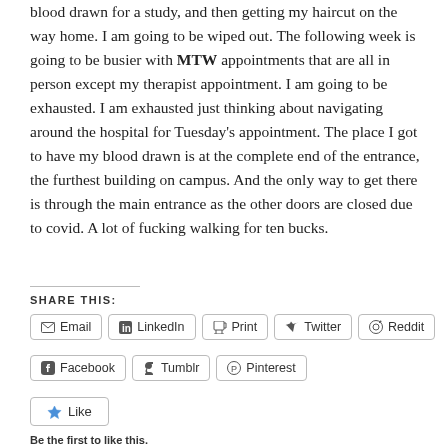blood drawn for a study, and then getting my haircut on the way home. I am going to be wiped out. The following week is going to be busier with MTW appointments that are all in person except my therapist appointment. I am going to be exhausted. I am exhausted just thinking about navigating around the hospital for Tuesday's appointment. The place I got to have my blood drawn is at the complete end of the entrance, the furthest building on campus. And the only way to get there is through the main entrance as the other doors are closed due to covid. A lot of fucking walking for ten bucks.
SHARE THIS:
Email
LinkedIn
Print
Twitter
Reddit
Facebook
Tumblr
Pinterest
Like
Be the first to like this.